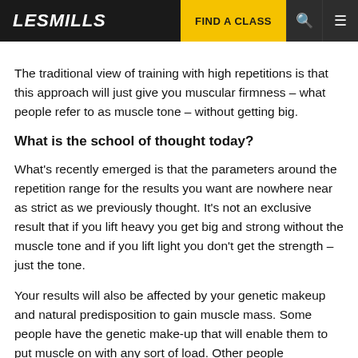LES MILLS | FIND A CLASS
The traditional view of training with high repetitions is that this approach will just give you muscular firmness – what people refer to as muscle tone – without getting big.
What is the school of thought today?
What's recently emerged is that the parameters around the repetition range for the results you want are nowhere near as strict as we previously thought. It's not an exclusive result that if you lift heavy you get big and strong without the muscle tone and if you lift light you don't get the strength – just the tone.
Your results will also be affected by your genetic makeup and natural predisposition to gain muscle mass. Some people have the genetic make-up that will enable them to put muscle on with any sort of load. Other people